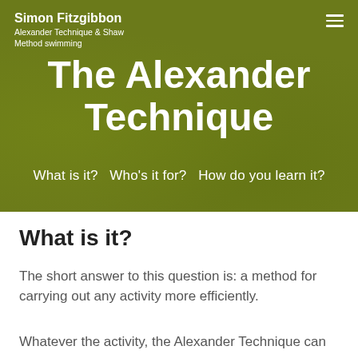Simon Fitzgibbon
Alexander Technique & Shaw Method swimming
The Alexander Technique
What is it?  Who's it for?  How do you learn it?
What is it?
The short answer to this question is: a method for carrying out any activity more efficiently.
Whatever the activity, the Alexander Technique can